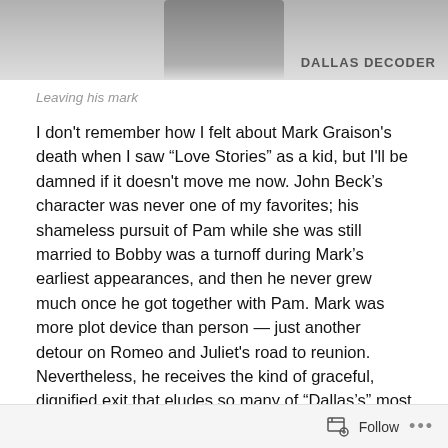[Figure (photo): Partial photo of a person, with 'DALLAS DECODER' watermark text in the bottom right]
Leaving his mark
I don't remember how I felt about Mark Graison's death when I saw “Love Stories” as a kid, but I'll be damned if it doesn't move me now. John Beck’s character was never one of my favorites; his shameless pursuit of Pam while she was still married to Bobby was a turnoff during Mark’s earliest appearances, and then he never grew much once he got together with Pam. Mark was more plot device than person — just another detour on Romeo and Juliet’s road to reunion. Nevertheless, he receives the kind of graceful, dignified exit that eludes so many of “Dallas’s” most iconic figures. (Yes, Pam, I’m looking at you.)
Follow ...